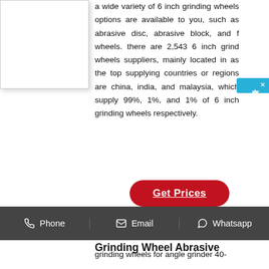[Figure (photo): Product image placeholder box with white background and border]
a wide variety of 6 inch grinding wheels options are available to you, such as abrasive disc, abrasive block, and f wheels. there are 2,543 6 inch grind wheels suppliers, mainly located in as the top supplying countries or regions are china, india, and malaysia, which supply 99%, 1%, and 1% of 6 inch grinding wheels respectively.
[Figure (other): Chinese floating chat button labeled 在线咨询]
Get Prices
[Figure (other): Small horizontal line separator]
6" 150mm Resin Diamond Grinding Wheel Abrasive
Phone   Email   Whatsapp
grinding wheels for angle grinder 40-